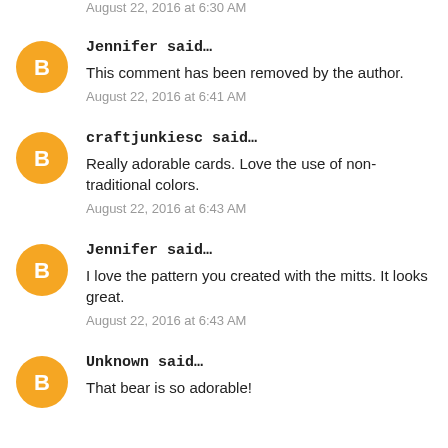August 22, 2016 at 6:30 AM
Jennifer said…
This comment has been removed by the author.
August 22, 2016 at 6:41 AM
craftjunkiesc said…
Really adorable cards. Love the use of non-traditional colors.
August 22, 2016 at 6:43 AM
Jennifer said…
I love the pattern you created with the mitts. It looks great.
August 22, 2016 at 6:43 AM
Unknown said…
That bear is so adorable!